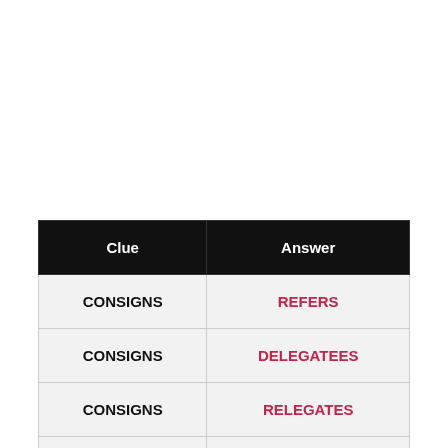| Clue | Answer |
| --- | --- |
| CONSIGNS | REFERS |
| CONSIGNS | DELEGATEES |
| CONSIGNS | RELEGATES |
| CONSIGNS | TRANSFERS |